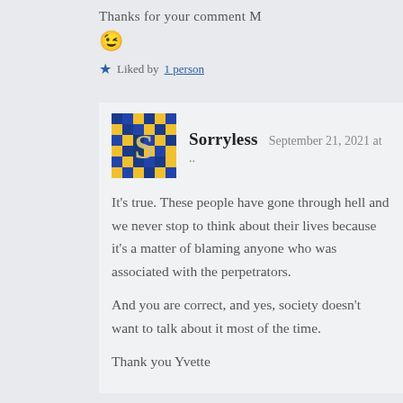Thanks for your comment M
😉
Liked by 1 person
Sorryless   September 21, 2021 at ..
It's true. These people have gone through hell and we never stop to think about their lives because it's a matter of blaming anyone who was associated with the perpetrators.
And you are correct, and yes, society doesn't want to talk about it most of the time.
Thank you Yvette